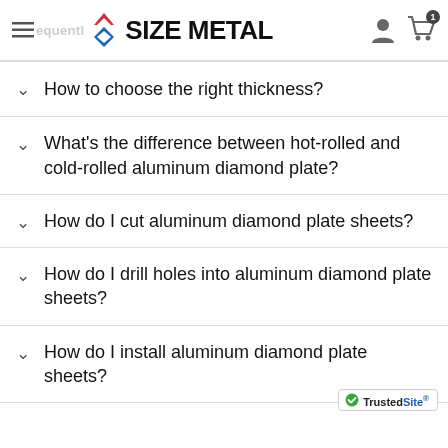SIZE METAL
How to choose the right thickness?
What's the difference between hot-rolled and cold-rolled aluminum diamond plate?
How do I cut aluminum diamond plate sheets?
How do I drill holes into aluminum diamond plate sheets?
How do I install aluminum diamond plate sheets?